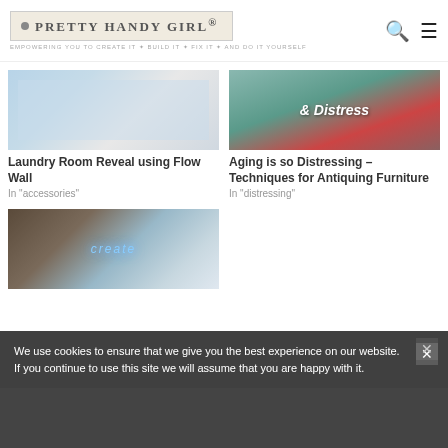Pretty Handy Girl — EMPOWERING YOU TO CREATE IT ✦ BUILD IT ✦ FIX IT ✦ AND DO IT YOURSELF
[Figure (photo): Laundry room interior with ironing board, shelving, and storage bins]
Laundry Room Reveal using Flow Wall
In "accessories"
[Figure (photo): Distressed teal and red painted sign reading '& Distress']
Aging is so Distressing – Techniques for Antiquing Furniture
In "distressing"
[Figure (photo): Craft room with neon sign glowing in blue/purple]
We use cookies to ensure that we give you the best experience on our website. If you continue to use this site we will assume that you are happy with it.